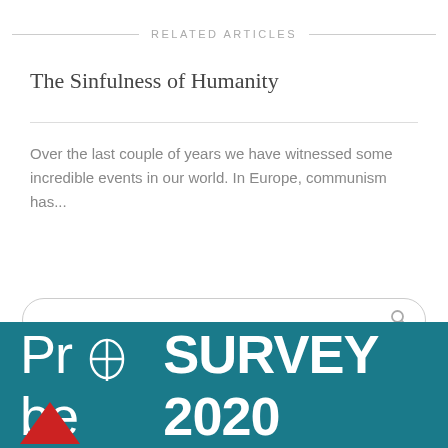RELATED ARTICLES
The Sinfulness of Humanity
Over the last couple of years we have witnessed some incredible events in our world. In Europe, communism has...
[Figure (screenshot): Search bar with rounded corners and a search icon on the right]
[Figure (screenshot): Back to top button, gray rounded rectangle with upward-pointing chevron]
[Figure (infographic): Probe Survey 2020 banner with teal background, white Probe logo text and bold SURVEY 2020 text, red triangle at bottom left]